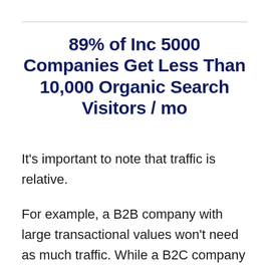89% of Inc 5000 Companies Get Less Than 10,000 Organic Search Visitors / mo
It’s important to note that traffic is relative.
For example, a B2B company with large transactional values won’t need as much traffic. While a B2C company